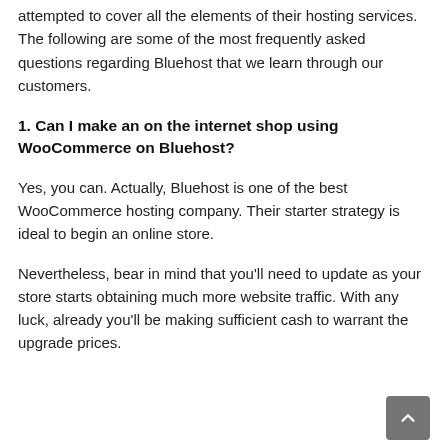attempted to cover all the elements of their hosting services. The following are some of the most frequently asked questions regarding Bluehost that we learn through our customers.
1. Can I make an on the internet shop using WooCommerce on Bluehost?
Yes, you can. Actually, Bluehost is one of the best WooCommerce hosting company. Their starter strategy is ideal to begin an online store.
Nevertheless, bear in mind that you’ll need to update as your store starts obtaining much more website traffic. With any luck, already you’ll be making sufficient cash to warrant the upgrade prices.